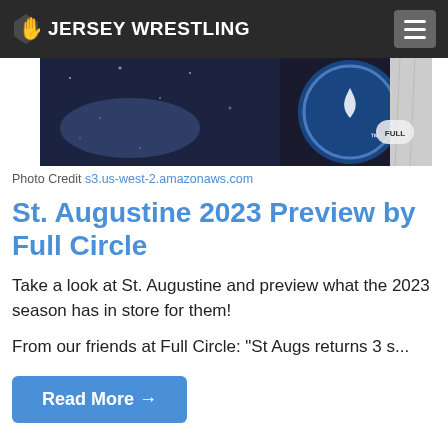JERSEY WRESTLING
[Figure (photo): Wrestling action photo showing two wrestlers competing, with a blue circular logo/emblem and Full Circle branding visible]
Photo Credit s3.us-west-2.amazonaws.com
St. Augustine 2023 Preview by Full Circle
Take a look at St. Augustine and preview what the 2023 season has in store for them!
From our friends at Full Circle: "St Augs returns 3 s...
Read More →